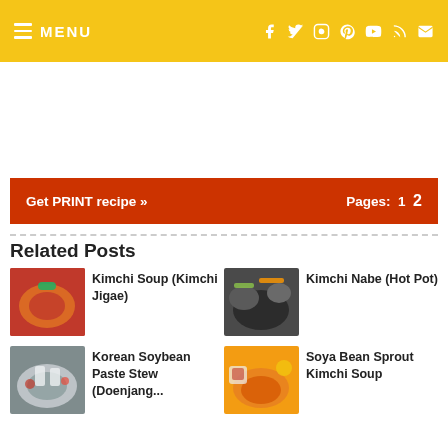MENU
[Figure (screenshot): White advertisement space]
Get PRINT recipe »    Pages: 1  2
Related Posts
[Figure (photo): Kimchi Soup (Kimchi Jigae) thumbnail]
Kimchi Soup (Kimchi Jigae)
[Figure (photo): Kimchi Nabe (Hot Pot) thumbnail]
Kimchi Nabe (Hot Pot)
[Figure (photo): Korean Soybean Paste Stew (Doenjang...) thumbnail]
Korean Soybean Paste Stew (Doenjang...
[Figure (photo): Soya Bean Sprout Kimchi Soup thumbnail]
Soya Bean Sprout Kimchi Soup